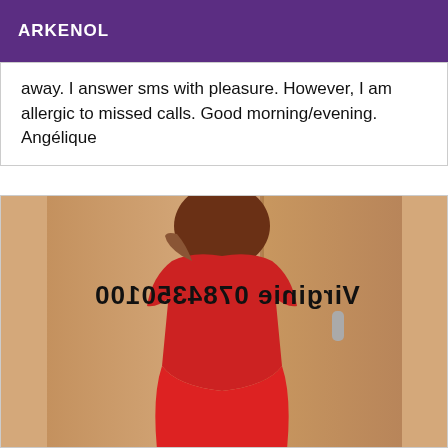ARKENOL
away. I answer sms with pleasure. However, I am allergic to missed calls. Good morning/evening. Angélique
[Figure (photo): Person wearing a red dress standing in front of a wooden door, facing away from the camera. A mirrored watermark reads 'Virginie 0784350100'.]